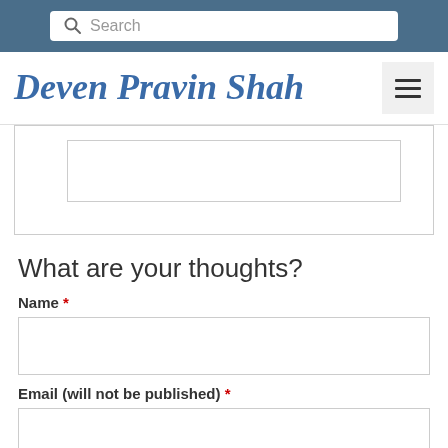Search
Deven Pravin Shah
What are your thoughts?
Name *
Email (will not be published) *
Website